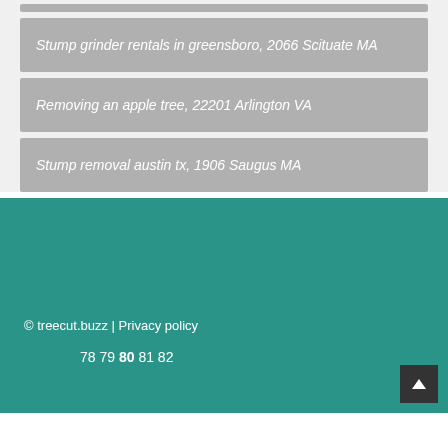Stump grinder rentals in greensboro, 2066 Scituate MA
Removing an apple tree, 22201 Arlington VA
Stump removal austin tx, 1906 Saugus MA
© treecut.buzz | Privacy policy
78 79 80 81 82